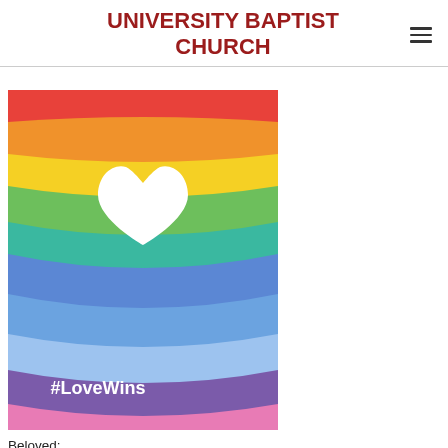UNIVERSITY BAPTIST CHURCH
[Figure (illustration): A rainbow-colored wavy illustration with a white heart shape in the center and the text '#LoveWins' at the bottom in white.]
Beloved: